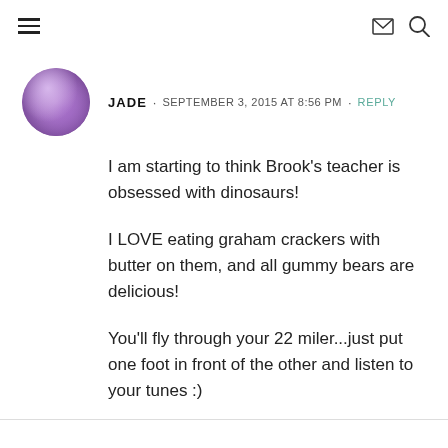Navigation header with hamburger menu, envelope icon, and search icon
JADE · SEPTEMBER 3, 2015 AT 8:56 PM · REPLY
I am starting to think Brook's teacher is obsessed with dinosaurs!

I LOVE eating graham crackers with butter on them, and all gummy bears are delicious!

You'll fly through your 22 miler...just put one foot in front of the other and listen to your tunes :)